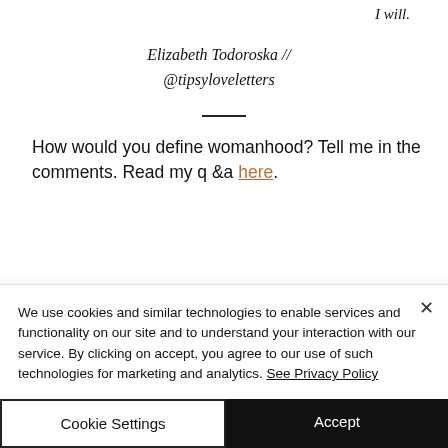I will.
Elizabeth Todoroska // @tipsyloveletters
How would you define womanhood? Tell me in the comments. Read my q &a here.
We use cookies and similar technologies to enable services and functionality on our site and to understand your interaction with our service. By clicking on accept, you agree to our use of such technologies for marketing and analytics. See Privacy Policy